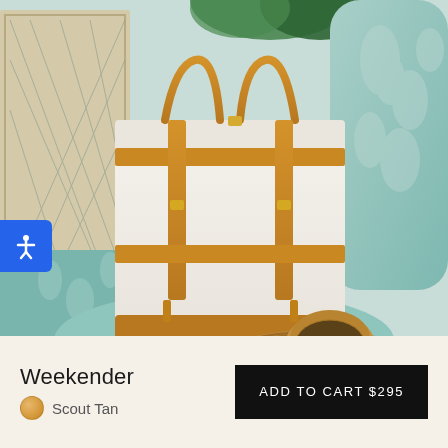[Figure (photo): A white canvas weekender bag with tan/cognac leather straps and handles, sitting on a mint green floral upholstered chair. A straw hat and woven mat are visible in the foreground. Decorative panels visible in background.]
Weekender
Scout Tan
ADD TO CART $295